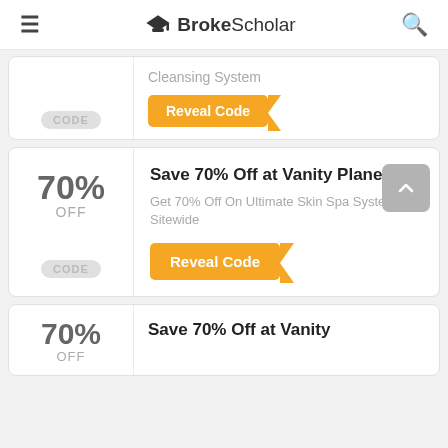BrokeScholar
Cleansing System
Reveal Code
CODE
70% OFF
Save 70% Off at Vanity Planet
Get 70% Off On Ultimate Skin Spa System Sitewide
Reveal Code
CODE
70% OFF
Save 70% Off at Vanity